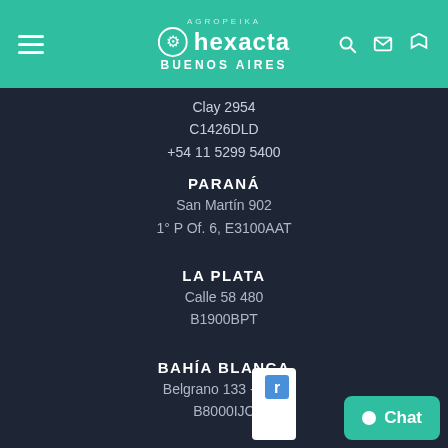hexacta — BUENOS AIRES
Clay 2954
C1426DLD
+54 11 5299 5400
PARANÁ
San Martín 902
1° P Of. 6, E3100AAT
LA PLATA
Calle 58 480
B1900BPT
BAHÍA BLANCA
Belgrano 133 - 2° P
B8000IJC